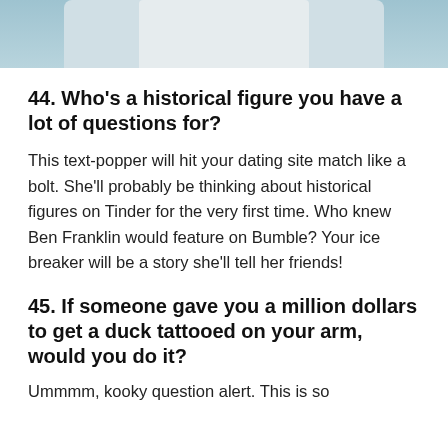[Figure (photo): Partial photo of a person in a light grey/white shirt against a light blue background, cropped to show only the lower torso/chest area.]
44. Who’s a historical figure you have a lot of questions for?
This text-popper will hit your dating site match like a bolt. She’ll probably be thinking about historical figures on Tinder for the very first time. Who knew Ben Franklin would feature on Bumble? Your ice breaker will be a story she’ll tell her friends!
45. If someone gave you a million dollars to get a duck tattooed on your arm, would you do it?
Ummmm, kooky question alert. This is so